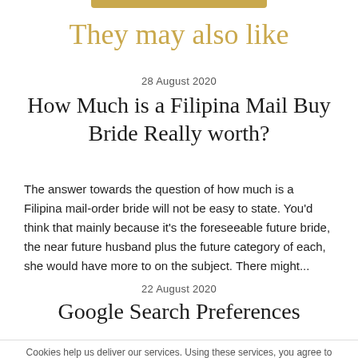They may also like
28 August 2020
How Much is a Filipina Mail Buy Bride Really worth?
The answer towards the question of how much is a Filipina mail-order bride will not be easy to state. You'd think that mainly because it's the foreseeable future bride, the near future husband plus the future category of each, she would have more to on the subject. There might...
22 August 2020
Google Search Preferences
Cookies help us deliver our services. Using these services, you agree to the use of cookies on our part. For